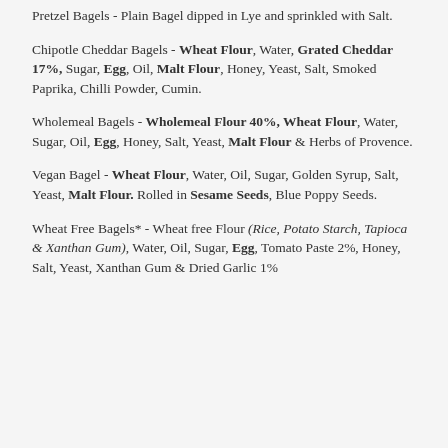Pretzel Bagels - Plain Bagel dipped in Lye and sprinkled with Salt.
Chipotle Cheddar Bagels - Wheat Flour, Water, Grated Cheddar 17%, Sugar, Egg, Oil, Malt Flour, Honey, Yeast, Salt, Smoked Paprika, Chilli Powder, Cumin.
Wholemeal Bagels - Wholemeal Flour 40%, Wheat Flour, Water, Sugar, Oil, Egg, Honey, Salt, Yeast, Malt Flour & Herbs of Provence.
Vegan Bagel - Wheat Flour, Water, Oil, Sugar, Golden Syrup, Salt, Yeast, Malt Flour. Rolled in Sesame Seeds, Blue Poppy Seeds.
Wheat Free Bagels* - Wheat free Flour (Rice, Potato Starch, Tapioca & Xanthan Gum), Water, Oil, Sugar, Egg, Tomato Paste 2%, Honey, Salt, Yeast, Xanthan Gum & Dried Garlic 1%